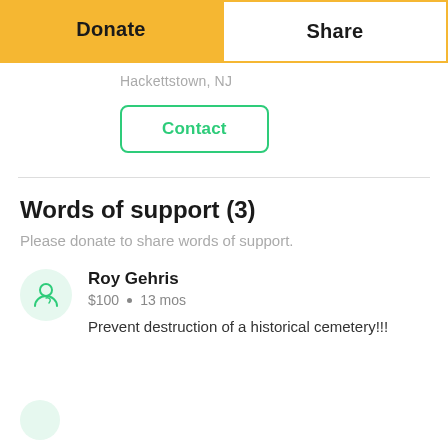Donate
Share
Hackettstown, NJ
Contact
Words of support (3)
Please donate to share words of support.
Roy Gehris
$100 • 13 mos
Prevent destruction of a historical cemetery!!!